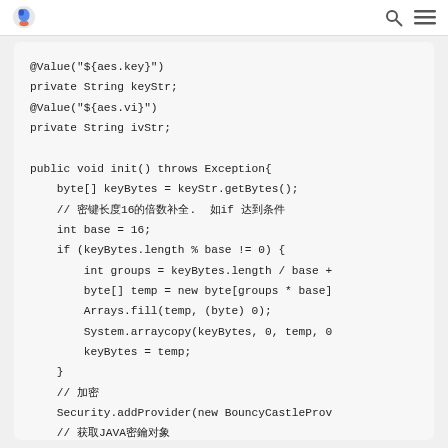@Value("${aes.key}")
private String keyStr;
@Value("${aes.vi}")
private String ivStr;

public void init() throws Exception{
    byte[] keyBytes = keyStr.getBytes();
    // 密钥长度16的倍数补全.  如if 达到条件
    int base = 16;
    if (keyBytes.length % base != 0) {
        int groups = keyBytes.length / base +
        byte[] temp = new byte[groups * base]
        Arrays.fill(temp, (byte) 0);
        System.arraycopy(keyBytes, 0, temp, 0
        keyBytes = temp;
    }
    // 加密
    Security.addProvider(new BouncyCastleProv
    // 获取JAVA密钥对象